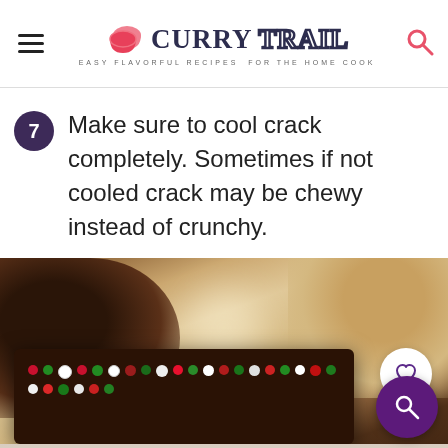Curry Trail — Easy Flavorful Recipes For The Home Cook
Make sure to cool crack completely. Sometimes if not cooled crack may be chewy instead of crunchy.
[Figure (photo): A blurry photo of dark chocolate bark topped with colorful red, green, and white sprinkles/M&Ms, held up with a blurred background showing holiday decorations.]